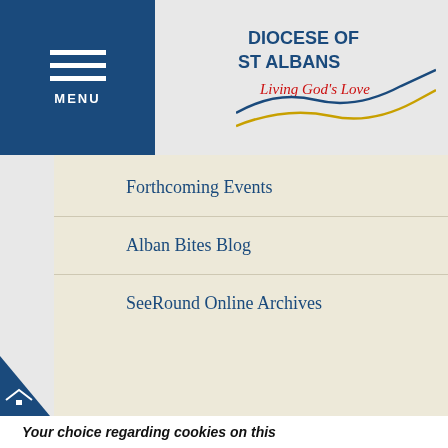[Figure (logo): Diocese of St Albans logo with text 'DIOCESE OF ST ALBANS' and tagline 'Living God's Love' with a wave/wing design]
MENU
Forthcoming Events
Alban Bites Blog
SeeRound Online Archives
Sign up to E-News
Find us on Facebook
Find us on Twitter
Find us on Instagram
Your choice regarding cookies on this